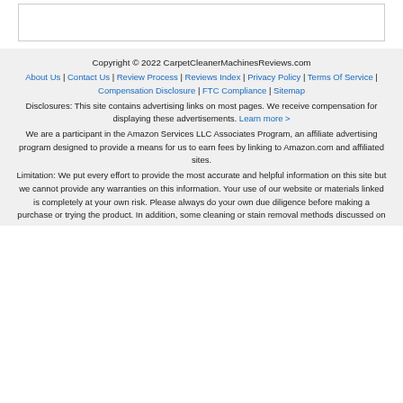[Figure (other): Empty white box with border at top of page]
Copyright © 2022 CarpetCleanerMachinesReviews.com
About Us | Contact Us | Review Process | Reviews Index | Privacy Policy | Terms Of Service | Compensation Disclosure | FTC Compliance | Sitemap
Disclosures: This site contains advertising links on most pages. We receive compensation for displaying these advertisements. Learn more >
We are a participant in the Amazon Services LLC Associates Program, an affiliate advertising program designed to provide a means for us to earn fees by linking to Amazon.com and affiliated sites.
Limitation: We put every effort to provide the most accurate and helpful information on this site but we cannot provide any warranties on this information. Your use of our website or materials linked is completely at your own risk. Please always do your own due diligence before making a purchase or trying the product. In addition, some cleaning or stain removal methods discussed on